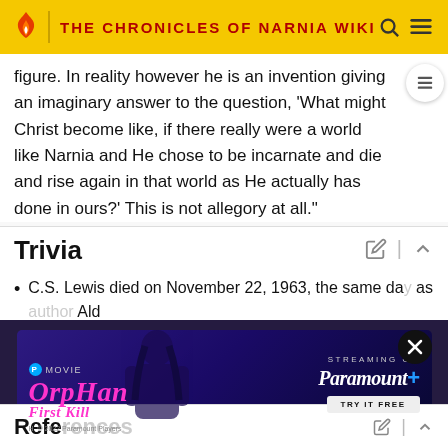THE CHRONICLES OF NARNIA WIKI
figure. In reality however he is an invention giving an imaginary answer to the question, 'What might Christ become like, if there really were a world like Narnia and He chose to be incarnate and die and rise again in that world as He actually has done in ours?' This is not allegory at all."
Trivia
C.S. Lewis died on November 22, 1963, the same day as [author Ald...]
Refe...
[Figure (other): Advertisement for Orphan: First Kill movie, streaming on Paramount+]